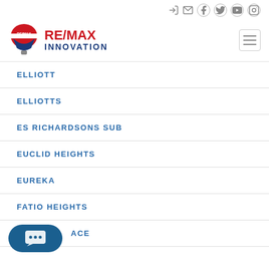[Figure (logo): RE/MAX Innovation logo with hot air balloon and text]
ELLIOTT
ELLIOTTS
ES RICHARDSONS SUB
EUCLID HEIGHTS
EUREKA
FATIO HEIGHTS
ACE